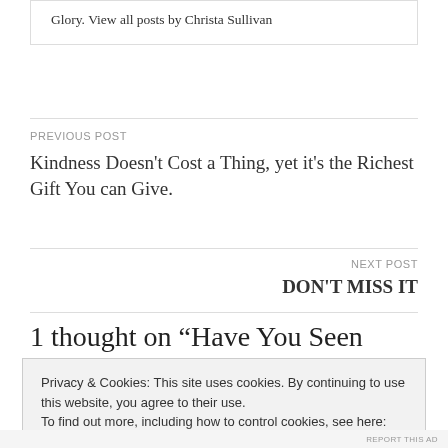Glory. View all posts by Christa Sullivan
PREVIOUS POST
Kindness Doesn't Cost a Thing, yet it's the Richest Gift You can Give.
NEXT POST
DON'T MISS IT
1 thought on “Have You Seen
Privacy & Cookies: This site uses cookies. By continuing to use this website, you agree to their use.
To find out more, including how to control cookies, see here: Cookie Policy
Close and accept